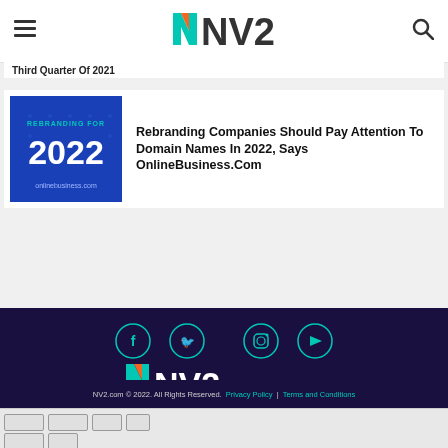NV2 The News Voice
Third Quarter Of 2021
[Figure (photo): Blue banner image with text 'Rebranding For 2022' and onlinebusiness.com branding]
Rebranding Companies Should Pay Attention To Domain Names In 2022, Says OnlineBusiness.Com
[Figure (logo): NV2 The News Voice footer logo with social media icons (Facebook, Twitter, Instagram, YouTube)]
NV2.com © 2022. All Rights Reserved. Privacy Policy | Terms and Conditions